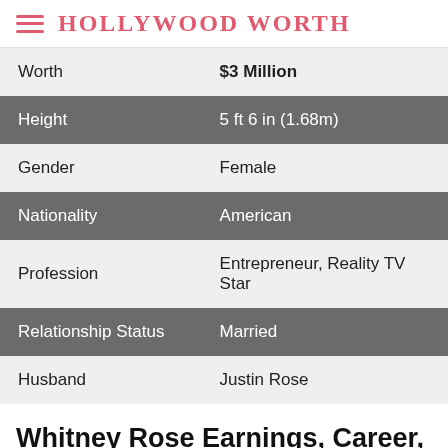HOLLYWOOD WORTH
|  |  |
| --- | --- |
| Worth | $3 Million |
| Height | 5 ft 6 in (1.68m) |
| Gender | Female |
| Nationality | American |
| Profession | Entrepreneur, Reality TV Star |
| Relationship Status | Married |
| Husband | Justin Rose |
Whitney Rose Earnings, Career,